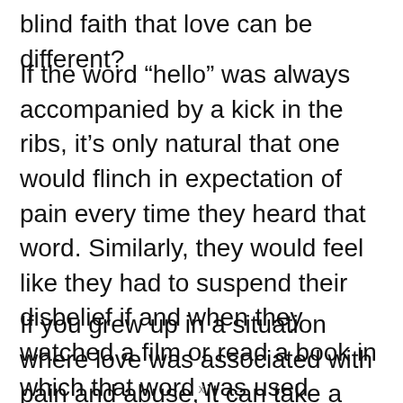blind faith that love can be different?
If the word “hello” was always accompanied by a kick in the ribs, it’s only natural that one would flinch in expectation of pain every time they heard that word. Similarly, they would feel like they had to suspend their disbelief if and when they watched a film or read a book in which that word was used joyfully.
If you grew up in a situation where love was associated with pain and abuse, it can take a long time and a lot of effort and life...
x